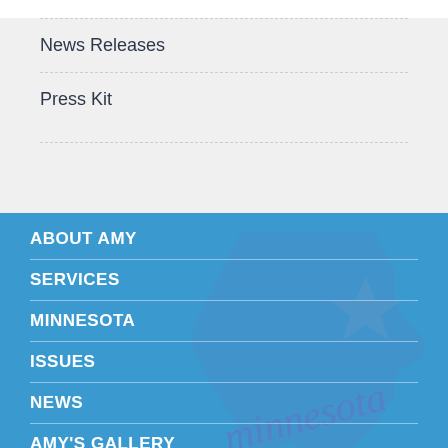News Releases
Press Kit
ABOUT AMY
SERVICES
MINNESOTA
ISSUES
NEWS
AMY'S GALLERY